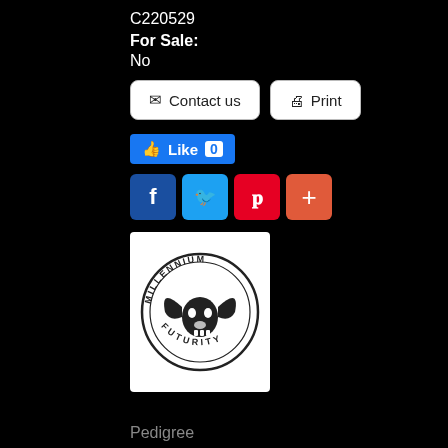C220529
For Sale: No
Contact us
Print
Like 0
[Figure (logo): Millennium Futurity logo — circular emblem with longhorn skull in center and text MILLENNIUM FUTURITY around the border]
Pedigree
Breeding
Measurement History
Progeny